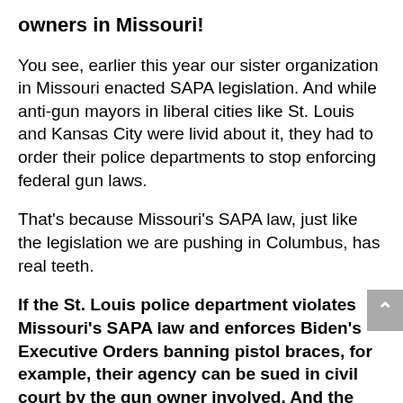owners in Missouri!
You see, earlier this year our sister organization in Missouri enacted SAPA legislation. And while anti-gun mayors in liberal cities like St. Louis and Kansas City were livid about it, they had to order their police departments to stop enforcing federal gun laws.
That's because Missouri's SAPA law, just like the legislation we are pushing in Columbus, has real teeth.
If the St. Louis police department violates Missouri's SAPA law and enforces Biden's Executive Orders banning pistol braces, for example, their agency can be sued in civil court by the gun owner involved. And the minimum fine — per occurrence — is